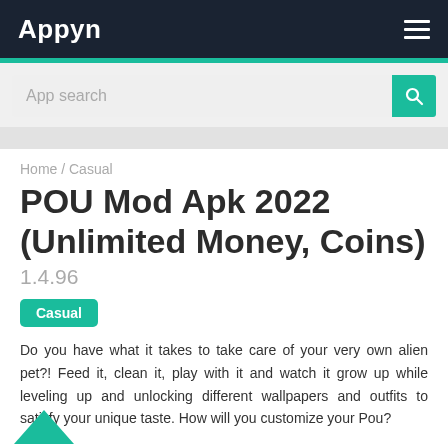Appyn
App search
Home / Casual
POU Mod Apk 2022 (Unlimited Money, Coins)
1.4.96
Casual
Do you have what it takes to take care of your very own alien pet?! Feed it, clean it, play with it and watch it grow up while leveling up and unlocking different wallpapers and outfits to satisfy your unique taste. How will you customize your Pou?